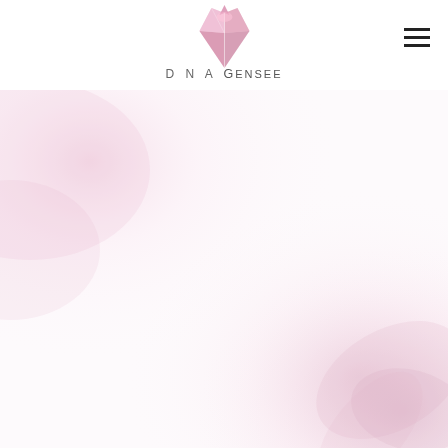[Figure (logo): DNA Gensee logo with pink/red crystal/gem graphic above the text 'D N A Gensee']
[Figure (illustration): Soft pink and white blurred floral/abstract background image filling the lower portion of the page]